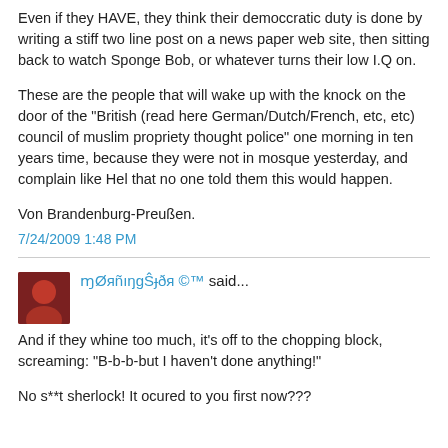Even if they HAVE, they think their democcratic duty is done by writing a stiff two line post on a news paper web site, then sitting back to watch Sponge Bob, or whatever turns their low I.Q on.
These are the people that will wake up with the knock on the door of the "British (read here German/Dutch/French, etc, etc) council of muslim propriety thought police" one morning in ten years time, because they were not in mosque yesterday, and complain like Hel that no one told them this would happen.
Von Brandenburg-Preußen.
7/24/2009 1:48 PM
ɱØяñıŋgŜɟðя ©™ said...
And if they whine too much, it's off to the chopping block, screaming: "B-b-b-but I haven't done anything!"
No s**t sherlock! It ocured to you first now???